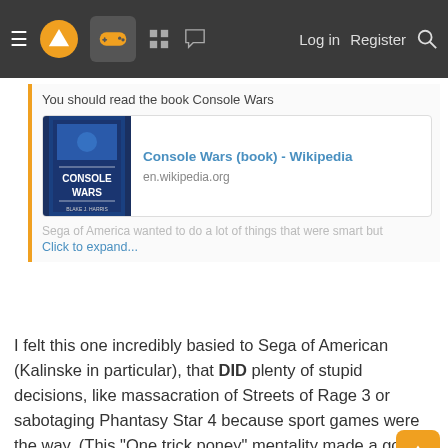≡ [logo] [games icon] [grid icon] [chat icon]   Log in   Register   🔍
You should read the book Console Wars
[Figure (screenshot): Link card showing Console Wars (book) - Wikipedia from en.wikipedia.org with a book cover thumbnail]
Sega of America wanted to do a lot of things that were smart but
Click to expand...
I felt this one incredibly basied to Sega of American (Kalinske in particular), that DID plenty of stupid decisions, like massacration of Streets of Rage 3 or sabotaging Phantasy Star 4 because sport games were the way. (This "One trick poney" mentality made a good dent on the Sega CD and Saturn).
Let's be real Sega sucesses and failiures were a joint effort by both branches.